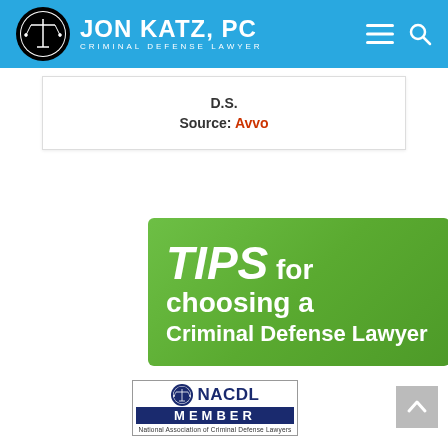Jon Katz, PC — Criminal Defense Lawyer
D.S.
Source: Avvo
[Figure (illustration): Green banner reading 'TIPS for choosing a Criminal Defense Lawyer']
[Figure (logo): NACDL Member — National Association of Criminal Defense Lawyers badge]